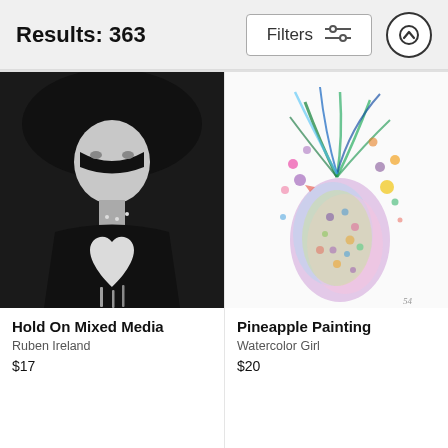Results: 363
[Figure (screenshot): Filter button with sliders icon and scroll-up arrow button in header]
[Figure (photo): Black and white mixed media photo of a woman with a white heart shape painted on her chest, dramatic makeup and hat]
Hold On Mixed Media
Ruben Ireland
$17
[Figure (illustration): Colorful watercolor painting of a pineapple with rainbow splashes and bursts of color in blues, purples, yellows, pinks and greens]
Pineapple Painting
Watercolor Girl
$20